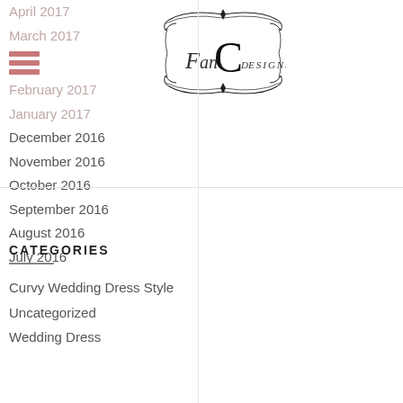April 2017
March 2017
February 2017
January 2017
December 2016
November 2016
October 2016
September 2016
August 2016
July 2016
[Figure (logo): FanC Designs decorative logo with ornate border]
CATEGORIES
Curvy Wedding Dress Style
Uncategorized
Wedding Dress